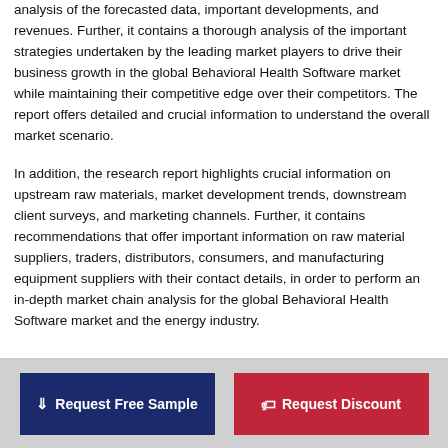analysis of the forecasted data, important developments, and revenues. Further, it contains a thorough analysis of the important strategies undertaken by the leading market players to drive their business growth in the global Behavioral Health Software market while maintaining their competitive edge over their competitors. The report offers detailed and crucial information to understand the overall market scenario.
In addition, the research report highlights crucial information on upstream raw materials, market development trends, downstream client surveys, and marketing channels. Further, it contains recommendations that offer important information on raw material suppliers, traders, distributors, consumers, and manufacturing equipment suppliers with their contact details, in order to perform an in-depth market chain analysis for the global Behavioral Health Software market and the energy industry.
Request Free Sample | Request Discount